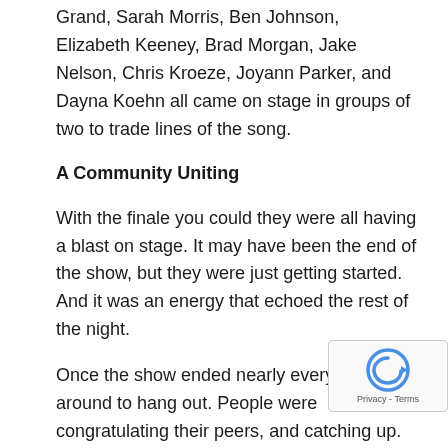Grand, Sarah Morris, Ben Johnson, Elizabeth Keeney, Brad Morgan, Jake Nelson, Chris Kroeze, Joyann Parker, and Dayna Koehn all came on stage in groups of two to trade lines of the song.
A Community Uniting
With the finale you could they were all having a blast on stage. It may have been the end of the show, but they were just getting started. And it was an energy that echoed the rest of the night.
Once the show ended nearly everyone stuck around to hang out. People were congratulating their peers, and catching up. They were talking about music and everything else. No one wanted to say goodbye.
So, what was that something that was happening? It wa celebration of something that's uniquely theirs. It didn't